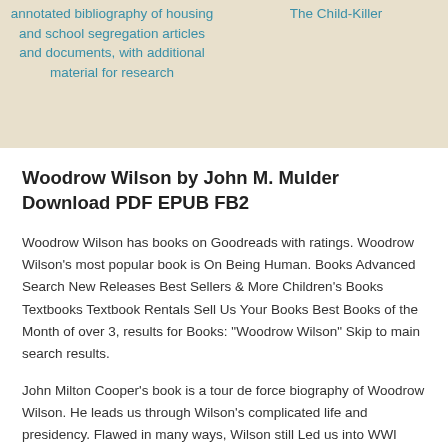annotated bibliography of housing and school segregation articles and documents, with additional material for research
The Child-Killer
Woodrow Wilson by John M. Mulder Download PDF EPUB FB2
Woodrow Wilson has books on Goodreads with ratings. Woodrow Wilson's most popular book is On Being Human. Books Advanced Search New Releases Best Sellers & More Children's Books Textbooks Textbook Rentals Sell Us Your Books Best Books of the Month of over 3, results for Books: "Woodrow Wilson" Skip to main search results.
John Milton Cooper's book is a tour de force biography of Woodrow Wilson. He leads us through Wilson's complicated life and presidency. Flawed in many ways, Wilson still Led us into WWI when there